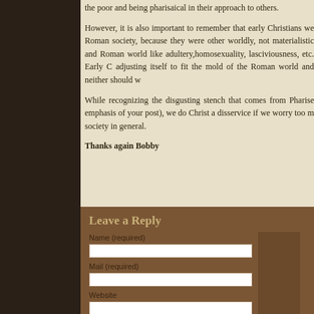the poor and being pharisaical in their approach to others.
However, it is also important to remember that early Christians we Roman society, because they were other worldly, not materialistic and Roman world like adultery,homosexuality, lasciviousness, etc. Early C adjusting itself to fit the mold of the Roman world and neither should w
While recognizing the disgusting stench that comes from Pharise emphasis of your post), we do Christ a disservice if we worry too m society in general.
Thanks again Bobby
Leave a Reply
Name (required)
Mail (required)
Website